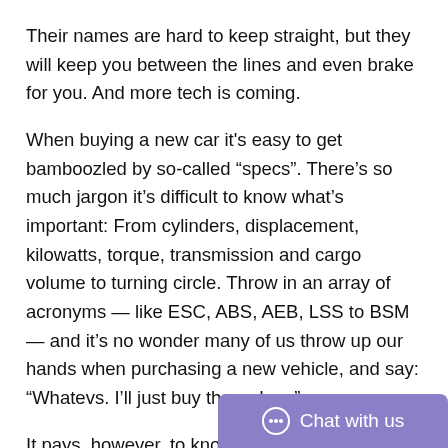Their names are hard to keep straight, but they will keep you between the lines and even brake for you. And more tech is coming.
When buying a new car it's easy to get bamboozled by so-called “specs”. There’s so much jargon it’s difficult to know what’s important: From cylinders, displacement, kilowatts, torque, transmission and cargo volume to turning circle. Throw in an array of acronyms — like ESC, ABS, AEB, LSS to BSM — and it’s no wonder many of us throw up our hands when purchasing a new vehicle, and say: “Whatevs. I’ll just buy the red car”.
It pays, however, to know your car’s safety features. They not only help you, the driver, s... avoid one altogether.